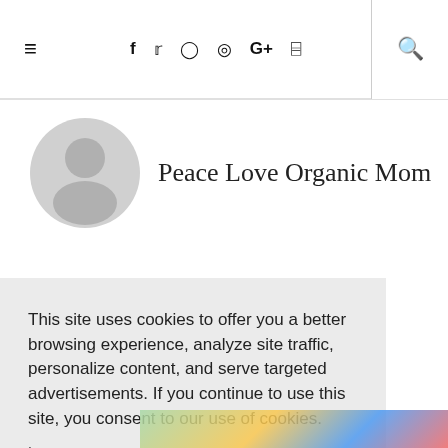≡  f  🐦  📷  Pinterest  G+  RSS  🔍
Peace Love Organic Mom
This site uses cookies to offer you a better browsing experience, analyze site traffic, personalize content, and serve targeted advertisements. If you continue to use this site, you consent to our use of cookies.
Learn more
I AGREE
[Figure (photo): Bottom portion of a product image partially visible]